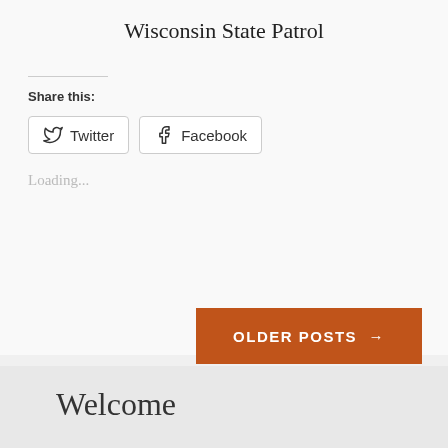Wisconsin State Patrol
Share this:
Twitter
Facebook
Loading...
OLDER POSTS →
Welcome